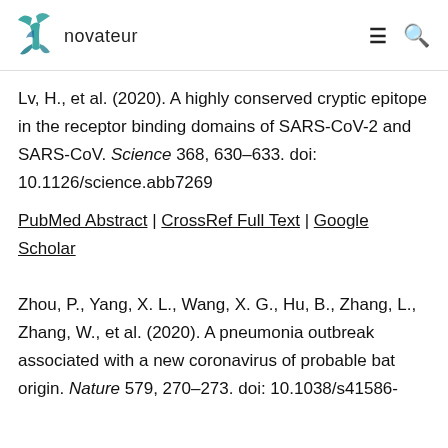novateur
Lv, H., et al. (2020). A highly conserved cryptic epitope in the receptor binding domains of SARS-CoV-2 and SARS-CoV. Science 368, 630–633. doi: 10.1126/science.abb7269
PubMed Abstract | CrossRef Full Text | Google Scholar
Zhou, P., Yang, X. L., Wang, X. G., Hu, B., Zhang, L., Zhang, W., et al. (2020). A pneumonia outbreak associated with a new coronavirus of probable bat origin. Nature 579, 270–273. doi: 10.1038/s41586-